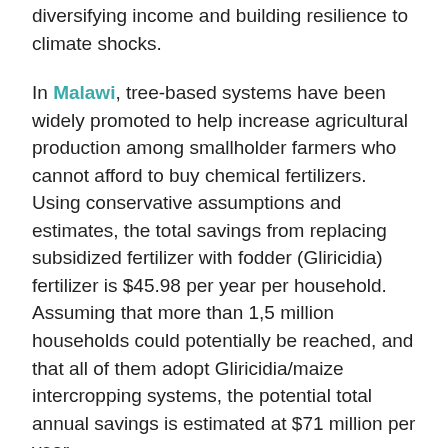diversifying income and building resilience to climate shocks.
In Malawi, tree-based systems have been widely promoted to help increase agricultural production among smallholder farmers who cannot afford to buy chemical fertilizers. Using conservative assumptions and estimates, the total savings from replacing subsidized fertilizer with fodder (Gliricidia) fertilizer is $45.98 per year per household. Assuming that more than 1,5 million households could potentially be reached, and that all of them adopt Gliricidia/maize intercropping systems, the potential total annual savings is estimated at $71 million per year.
In Rwanda, TBS in agricultural lands are widespread. For a country where most poor families live in rural areas, shows how the spread of tree-based systems